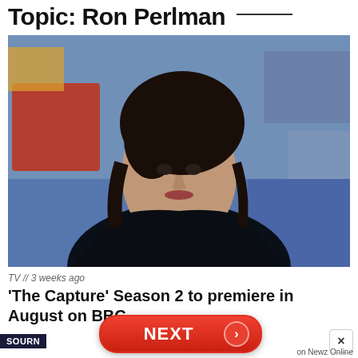Topic: Ron Perlman
[Figure (photo): A woman with dark hair pulled back, wearing a dark jacket, looking intensely at the camera. Background appears to be a busy environment with blurred colorful objects.]
TV // 3 weeks ago
'The Capture' Season 2 to premiere in August on BBC
SOURN
NEXT
on Newz Online